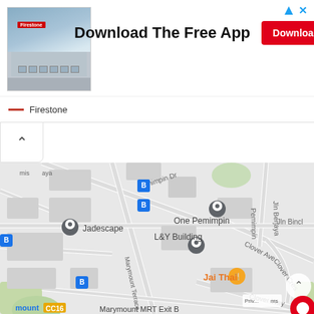[Figure (screenshot): Firestone advertisement banner with building photo, 'Download The Free App' headline, and red Download button. Below is a Google Maps screenshot showing Marymount area in Singapore with landmarks: Jadescape, One Pemimpin, L&Y Building, Jai Thai restaurant, Clover Ave, Clover Cres, Clover Way, Marymount Terrace, Pemimpin Dr, Jln Binja, Jln Berjaya, bus stop icons, and Marymount MRT Exit B label at the bottom.]
Download The Free App
Download
Firestone
Marymount MRT Exit B